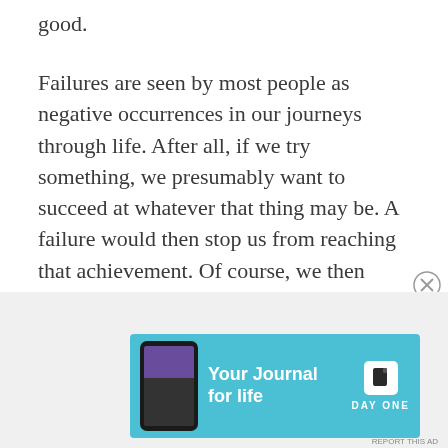good.
Failures are seen by most people as negative occurrences in our journeys through life. After all, if we try something, we presumably want to succeed at whatever that thing may be. A failure would then stop us from reaching that achievement. Of course, we then have the choice to either put forth another attempt, go about it in a different way, or simply give up on that particular venture. If you choose to see failure as a negative thing, you are most likely to fall into the category of those who choose to give up. However, if you see failure as more of a learning experience and use it as a stepping stone, of sorts, to achieve
Advertisements
[Figure (other): Advertisement banner for 'Day One - Your Journal for life' app, showing a smartphone and the app logo on a cyan/light-blue background.]